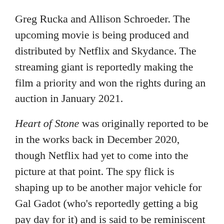Greg Rucka and Allison Schroeder. The upcoming movie is being produced and distributed by Netflix and Skydance. The streaming giant is reportedly making the film a priority and won the rights during an auction in January 2021.
Heart of Stone was originally reported to be in the works back in December 2020, though Netflix had yet to come into the picture at that point. The spy flick is shaping up to be another major vehicle for Gal Gadot (who's reportedly getting a big pay day for it) and is said to be reminiscent of the James Bond and Mission: Impossible movies. Though plot details are scarce, reports indicate that Skydance wants it to launch a multi-film franchise.This would be yet another major franchise under the actress' belt. At present, she's not only the lead of the aforementioned DC Comics series